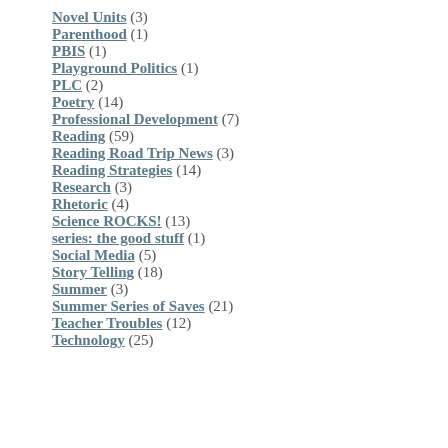Novel Units (3)
Parenthood (1)
PBIS (1)
Playground Politics (1)
PLC (2)
Poetry (14)
Professional Development (7)
Reading (59)
Reading Road Trip News (3)
Reading Strategies (14)
Research (3)
Rhetoric (4)
Science ROCKS! (13)
series: the good stuff (1)
Social Media (5)
Story Telling (18)
Summer (3)
Summer Series of Saves (21)
Teacher Troubles (12)
Technology (25)